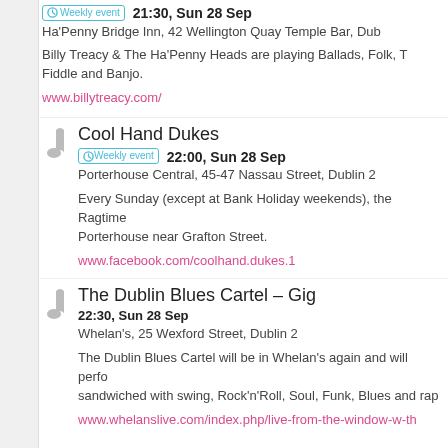Weekly event 21:30, Sun 28 Sep
Ha'Penny Bridge Inn, 42 Wellington Quay Temple Bar, Dub
Billy Treacy & The Ha'Penny Heads are playing Ballads, Folk, T Fiddle and Banjo.
www.billytreacy.com/
Cool Hand Dukes
Weekly event 22:00, Sun 28 Sep
Porterhouse Central, 45-47 Nassau Street, Dublin 2
Every Sunday (except at Bank Holiday weekends), the Ragtime Porterhouse near Grafton Street.
www.facebook.com/coolhand.dukes.1
The Dublin Blues Cartel – Gig
22:30, Sun 28 Sep
Whelan's, 25 Wexford Street, Dublin 2
The Dublin Blues Cartel will be in Whelan's again and will perfo sandwiched with swing, Rock'n'Roll, Soul, Funk, Blues and rap
www.whelanslive.com/index.php/live-from-the-window-w-th